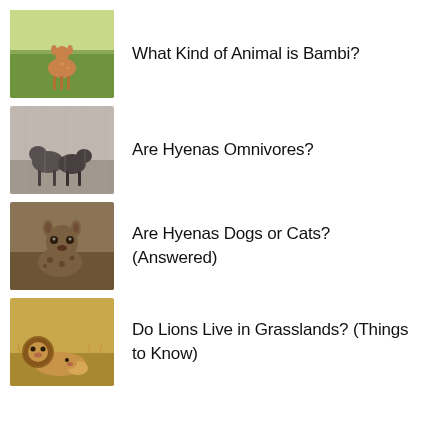[Figure (photo): A deer fawn standing in a green grassy field]
What Kind of Animal is Bambi?
[Figure (photo): Black and white photo of hyenas]
Are Hyenas Omnivores?
[Figure (photo): Close-up photo of a hyena]
Are Hyenas Dogs or Cats? (Answered)
[Figure (photo): A lion and cub resting in dry grassland]
Do Lions Live in Grasslands? (Things to Know)